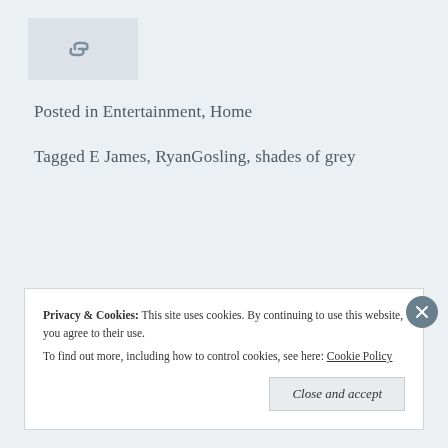[Figure (other): Small icon box with a chain/link icon]
Posted in Entertainment, Home
Tagged E James, RyanGosling, shades of grey
← Our Favourite Webisodes    5 Instagrammers to Follow →
Privacy & Cookies:  This site uses cookies. By continuing to use this website, you agree to their use.
To find out more, including how to control cookies, see here: Cookie Policy
Close and accept